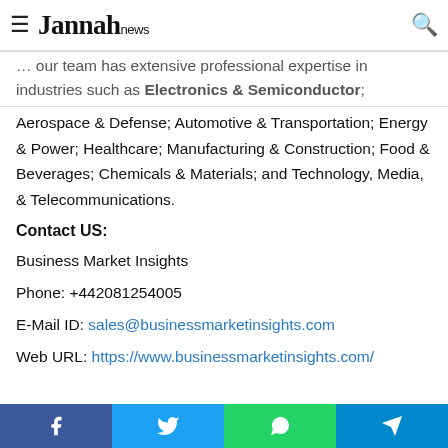Jannah news
expertise in industries such as Electronics & Semiconductor; Aerospace & Defense; Automotive & Transportation; Energy & Power; Healthcare; Manufacturing & Construction; Food & Beverages; Chemicals & Materials; and Technology, Media, & Telecommunications.
Contact US:
Business Market Insights
Phone: +442081254005
E-Mail ID: sales@businessmarketinsights.com
Web URL: https://www.businessmarketinsights.com/
Facebook Twitter WhatsApp Telegram